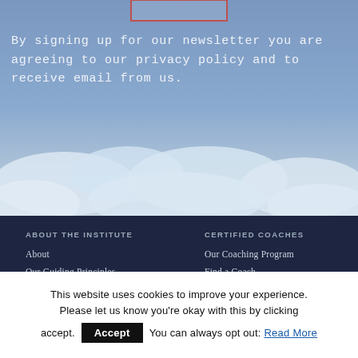[Figure (illustration): Blue sky with clouds background with a partially visible input/text box with red/orange border at the top center]
By signing up for our newsletter you are agreeing to our privacy policy and to receive email from us.
ABOUT THE INSTITUTE
About
Our Guiding Principles
Testimonials
About Katie and Gay
Sitemap
CERTIFIED COACHES
Our Coaching Program
Find a Coach
Learning Opportunities
This website uses cookies to improve your experience. Please let us know you're okay with this by clicking accept. You can always opt out: Read More